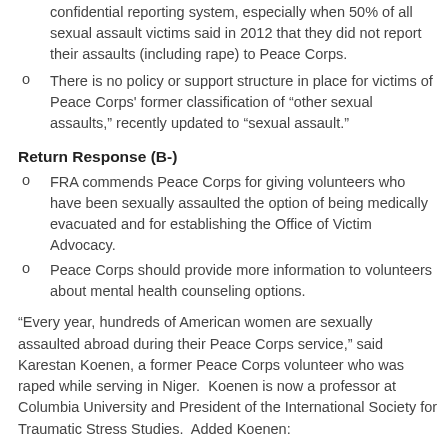confidential reporting system, especially when 50% of all sexual assault victims said in 2012 that they did not report their assaults (including rape) to Peace Corps.
There is no policy or support structure in place for victims of Peace Corps' former classification of “other sexual assaults,” recently updated to “sexual assault.”
Return Response (B-)
FRA commends Peace Corps for giving volunteers who have been sexually assaulted the option of being medically evacuated and for establishing the Office of Victim Advocacy.
Peace Corps should provide more information to volunteers about mental health counseling options.
“Every year, hundreds of American women are sexually assaulted abroad during their Peace Corps service,” said Karestan Koenen, a former Peace Corps volunteer who was raped while serving in Niger.  Koenen is now a professor at Columbia University and President of the International Society for Traumatic Stress Studies.  Added Koenen: